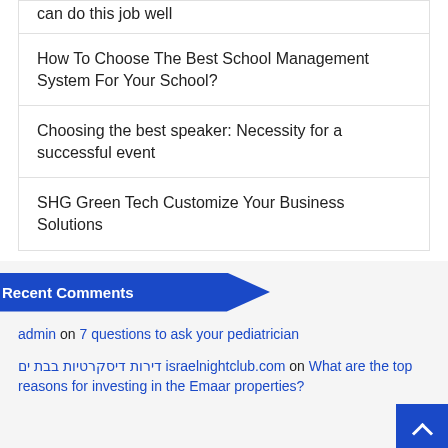can do this job well
How To Choose The Best School Management System For Your School?
Choosing the best speaker: Necessity for a successful event
SHG Green Tech Customize Your Business Solutions
Recent Comments
admin on 7 questions to ask your pediatrician
דירות דיסקרטיות בבת ים israelnightclub.com on What are the top reasons for investing in the Emaar properties?